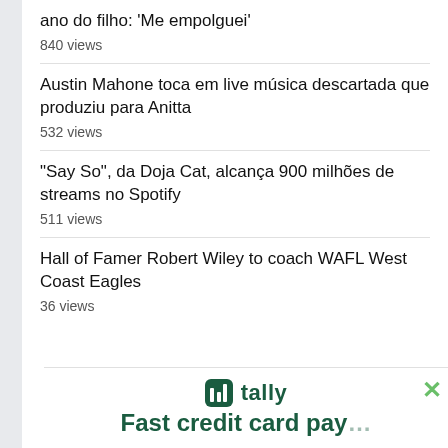ano do filho: 'Me empolguei'
840 views
Austin Mahone toca em live música descartada que produziu para Anitta
532 views
“Say So”, da Doja Cat, alcança 900 milhões de streams no Spotify
511 views
Hall of Famer Robert Wiley to coach WAFL West Coast Eagles
36 views
[Figure (logo): Tally app logo and advertisement banner reading 'Fast credit card pay']